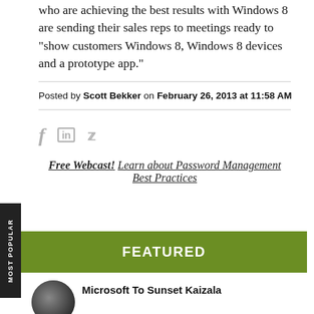who are achieving the best results with Windows 8 are sending their sales reps to meetings ready to "show customers Windows 8, Windows 8 devices and a prototype app."
Posted by Scott Bekker on February 26, 2013 at 11:58 AM
[Figure (infographic): Social media share icons: Facebook (f), LinkedIn (in), Twitter (bird)]
Free Webcast! Learn about Password Management Best Practices
FEATURED
[Figure (photo): Circular thumbnail image, grayscale]
Microsoft To Sunset Kaizala